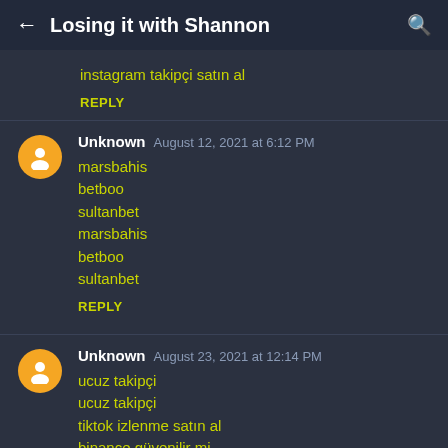Losing it with Shannon
instagram takipçi satın al
REPLY
Unknown  August 12, 2021 at 6:12 PM
marsbahis
betboo
sultanbet
marsbahis
betboo
sultanbet
REPLY
Unknown  August 23, 2021 at 12:14 PM
ucuz takipçi
ucuz takipçi
tiktok izlenme satın al
binance güvenilir mi
okex güvenilir mi